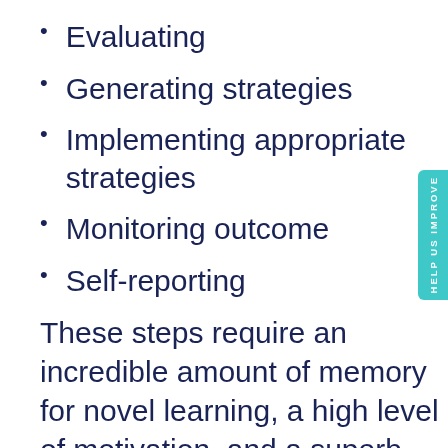Evaluating
Generating strategies
Implementing appropriate strategies
Monitoring outcome
Self-reporting
These steps require an incredible amount of memory for novel learning, a high level of motivation, and a superb